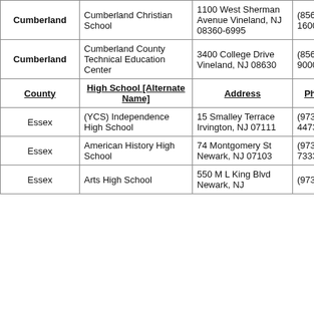| County | High School [Alternate Name] | Address | Phone | Since 2014? |
| --- | --- | --- | --- | --- |
| Cumberland | Cumberland Christian School | 1100 West Sherman Avenue Vineland, NJ 08360-6995 | (856) 696-1600 | No |
| Cumberland | Cumberland County Technical Education Center | 3400 College Drive Vineland, NJ 08630 | (856) 451-9000 | No |
| County | High School [Alternate Name] | Address | Phone | Since 2014? |
| Essex | (YCS) Independence High School | 15 Smalley Terrace Irvington, NJ 07111 | (973) 372-4473 | No |
| Essex | American History High School | 74 Montgomery St Newark, NJ 07103 | (973) 733-7333 | No |
| Essex | Arts High School | 550 M L King Blvd Newark, NJ | (973) 733- | No |